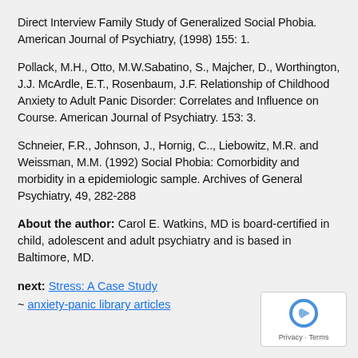Direct Interview Family Study of Generalized Social Phobia. American Journal of Psychiatry, (1998) 155: 1.
Pollack, M.H., Otto, M.W.Sabatino, S., Majcher, D., Worthington, J.J. McArdle, E.T., Rosenbaum, J.F. Relationship of Childhood Anxiety to Adult Panic Disorder: Correlates and Influence on Course. American Journal of Psychiatry. 153: 3.
Schneier, F.R., Johnson, J., Hornig, C.., Liebowitz, M.R. and Weissman, M.M. (1992) Social Phobia: Comorbidity and morbidity in a epidemiologic sample. Archives of General Psychiatry, 49, 282-288
About the author: Carol E. Watkins, MD is board-certified in child, adolescent and adult psychiatry and is based in Baltimore, MD.
next: Stress: A Case Study
~ anxiety-panic library articles